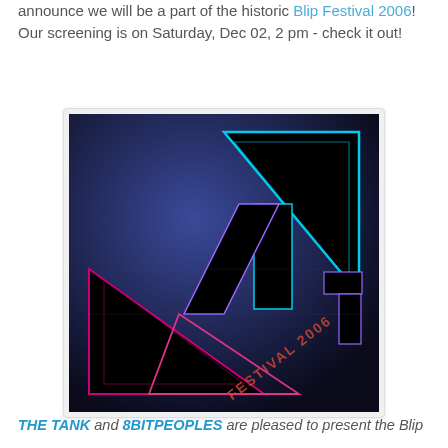announce we will be a part of the historic Blip Festival 2006! Our screening is on Saturday, Dec 02, 2 pm - check it out!
[Figure (logo): Blip Festival 2006 promotional poster with geometric triangular logo shapes in neon pink, blue, and purple on a dark blue/black gradient background with 'FESTIVAL 2006' text]
THE TANK and 8BITPEOPLES are pleased to present the Blip